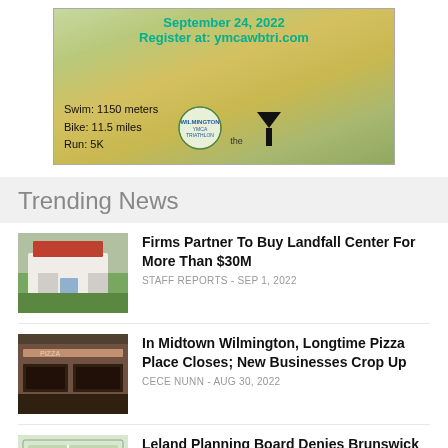[Figure (illustration): YMCA Triathlon advertisement banner. Text: September 24, 2022 / Register at: ymcawbtri.com / Swim: 1150 meters / Bike: 11.5 miles / Run: 5K. Features YMCA logo and triathlon graphic.]
Trending News
[Figure (photo): Exterior of Landfall Center building with white walls and red tile roof, green grass in foreground.]
Firms Partner To Buy Landfall Center For More Than $30M
STAFF REPORTS - SEP 1, 2022
[Figure (photo): Exterior of a pizza restaurant storefront with sign.]
In Midtown Wilmington, Longtime Pizza Place Closes; New Businesses Crop Up
CECE NUNN - AUG 30, 2022
[Figure (photo): Aerial or plan view map image, Leland townhouse project.]
Leland Planning Board Denies Brunswick Forest Townhouse Project Plan
CECE NUNN - AUG 31, 2022